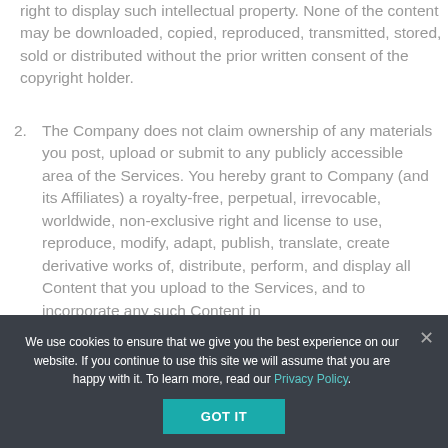right to display such intellectual property. None of the content may be downloaded, copied, reproduced, transmitted, stored, sold or distributed without the prior written consent of the copyright holder.
2. The Company does not claim ownership of any materials you post, upload or submit to any publicly accessible area of the Services. You hereby grant to Company (and its Affiliates) a royalty-free, perpetual, irrevocable, worldwide, non-exclusive right and license to use, reproduce, modify, adapt, publish, translate, create derivative works of, distribute, perform, and display all Content that you upload to the Services, and to incorporate any such Content in
We use cookies to ensure that we give you the best experience on our website. If you continue to use this site we will assume that you are happy with it. To learn more, read our Privacy Policy.